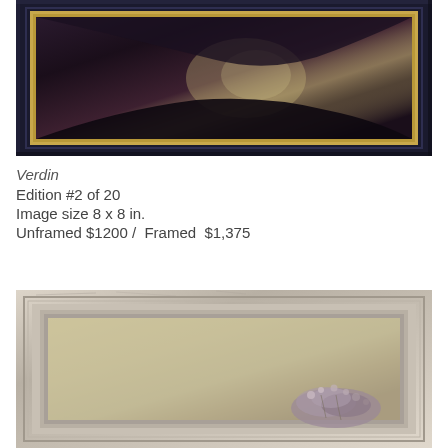[Figure (photo): Framed artwork photograph showing a dark navy/black ornate frame with gold inner border containing a dark moody painting]
Verdin
Edition #2 of 20
Image size 8 x 8 in.
Unframed $1200 /  Framed  $1,375
[Figure (photo): Framed artwork photograph showing a distressed white/grey wooden frame containing a painting with floral elements on a warm neutral background]